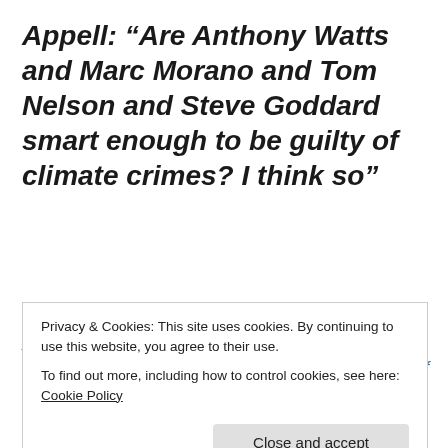Appell: “Are Anthony Watts and Marc Morano and Tom Nelson and Steve Goddard smart enough to be guilty of climate crimes? I think so”
Tom Nelson: From an epic rant by warmist David Appell: “Are Anthony Watts and Marc Morano and Tom Nelson and Steve Goddard smart enough to be guilty of climate
Privacy & Cookies: This site uses cookies. By continuing to use this website, you agree to their use.
To find out more, including how to control cookies, see here: Cookie Policy